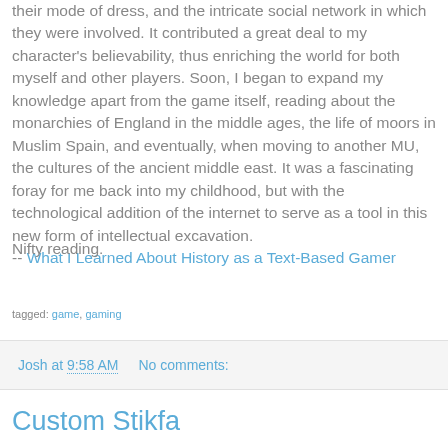their mode of dress, and the intricate social network in which they were involved. It contributed a great deal to my character's believability, thus enriching the world for both myself and other players. Soon, I began to expand my knowledge apart from the game itself, reading about the monarchies of England in the middle ages, the life of moors in Muslim Spain, and eventually, when moving to another MU, the cultures of the ancient middle east. It was a fascinating foray for me back into my childhood, but with the technological addition of the internet to serve as a tool in this new form of intellectual excavation. -- What I Learned About History as a Text-Based Gamer
Nifty reading.
tagged: game, gaming
Josh at 9:58 AM   No comments:
Custom Stikfa